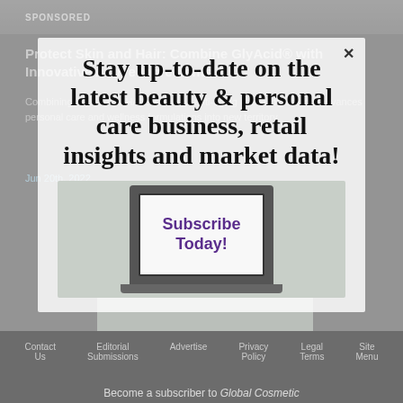SPONSORED
Protect Skin and Hair: Combine GlyAcid® with Innovative Active Ingredients
Combining GlyAcid® AHA technology, anti-aging active ingredients advances personal care and wellness formulations into new territory.
Jun 20th, 2022
[Figure (screenshot): Laptop showing 'Subscribe Today!' text on screen, set against a blurred shelf background]
Stay up-to-date on the latest beauty & personal care business, retail insights and market data!
[Figure (screenshot): Laptop with 'Subscribe Today!' displayed on screen]
Become a subscriber to Global Cosmetic
Contact Us | Editorial Submissions | Advertise | Privacy Policy | Legal Terms | Site Menu